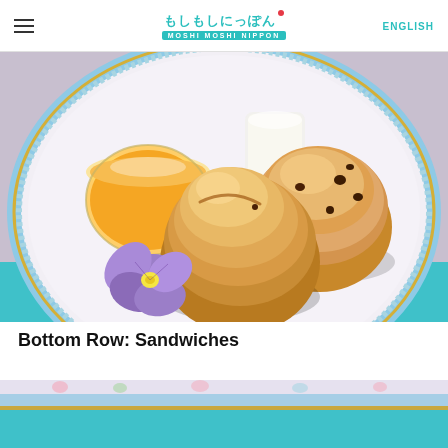もしもしにっぽん MOSHI MOSHI NIPPON | ENGLISH
[Figure (photo): Overhead view of two golden-brown scones with raisins/chocolate chips on a decorative plate with blue floral trim, accompanied by a glass bowl of orange marmalade, a glass of cream, and a purple viola flower garnish. The plate sits on a light purple surface with teal background visible at bottom.]
Bottom Row: Sandwiches
[Figure (photo): Partial view of a decorative plate with blue floral trim, showing the beginning of the bottom row sandwiches section.]